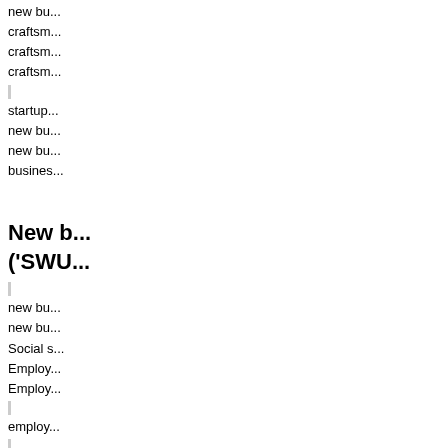new bu...
craftsm...
craftsm...
craftsm...
startup...
new bu...
new bu...
busines...
New b... ('SWU...
new bu...
new bu...
Social s...
Employ...
Employ...
employ...
new bu...
new bu...
new bu...
freelan...
new bu...